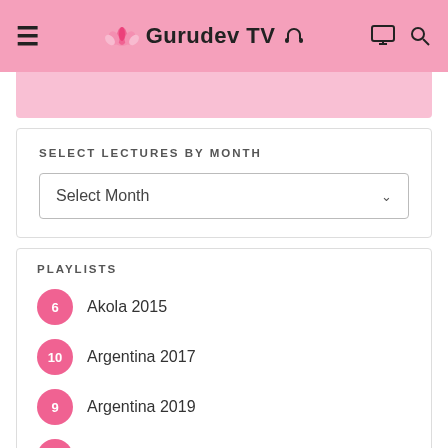Gurudev TV
SELECT LECTURES BY MONTH
Select Month
PLAYLISTS
6 Akola 2015
10 Argentina 2017
9 Argentina 2019
18 Argentina 2020
8 Australia 2016